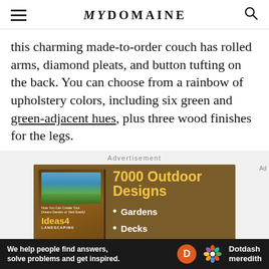MYDOMAINE
this charming made-to-order couch has rolled arms, diamond pleats, and button tufting on the back. You can choose from a rainbow of upholstery colors, including six green and green-adjacent hues, plus three wood finishes for the legs.
Advertisement
[Figure (infographic): Advertisement banner for '7000 Outdoor Designs' book (Ideas4Landscaping) with brown background, showing bullet points: Gardens, Decks, Pools]
We help people find answers, solve problems and get inspired. Dotdash meredith